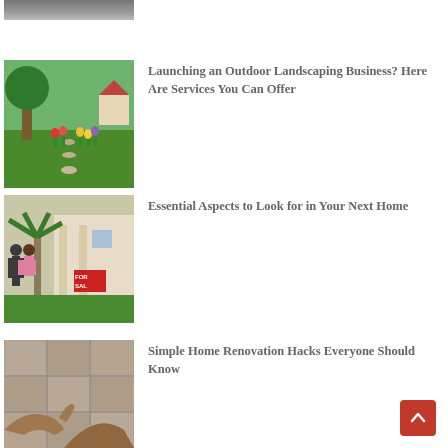[Figure (photo): Partial view of a house exterior at the top of the page]
[Figure (photo): Colorful garden with tulips and a stone path]
Launching an Outdoor Landscaping Business? Here Are Services You Can Offer
[Figure (photo): Couple looking at a house with a For Sale sign]
Essential Aspects to Look for in Your Next Home
[Figure (photo): Hands laying stone tiles on a floor]
Simple Home Renovation Hacks Everyone Should Know